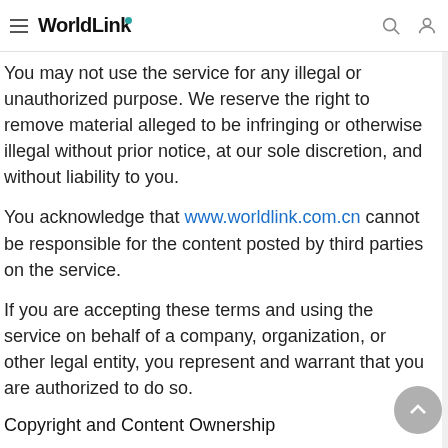WorldLink
You may not use the service for any illegal or unauthorized purpose. We reserve the right to remove material alleged to be infringing or otherwise illegal without prior notice, at our sole discretion, and without liability to you.
You acknowledge that www.worldlink.com.cn cannot be responsible for the content posted by third parties on the service.
If you are accepting these terms and using the service on behalf of a company, organization, or other legal entity, you represent and warrant that you are authorized to do so.
Copyright and Content Ownership